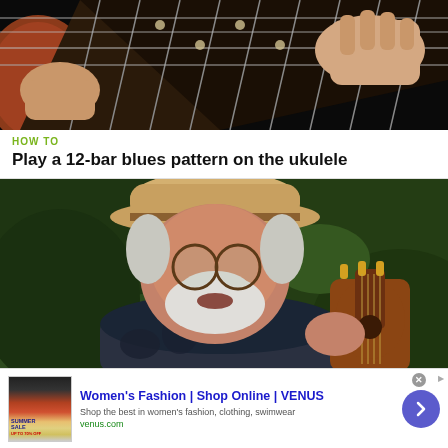[Figure (photo): Close-up of hands playing a ukulele/guitar fretboard, dark background]
HOW TO
Play a 12-bar blues pattern on the ukulele
[Figure (photo): Older man with hat and round glasses holding a ukulele outdoors in front of green foliage]
[Figure (infographic): Advertisement: Women's Fashion | Shop Online | VENUS. Shop the best in women's fashion, clothing, swimwear. venus.com]